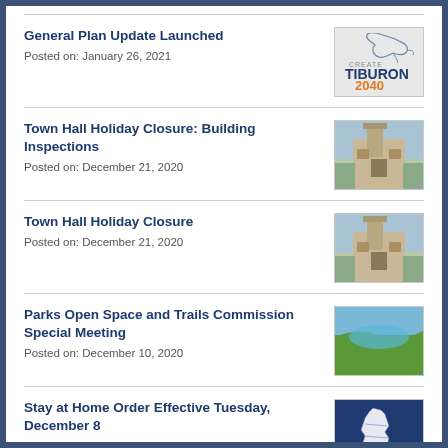General Plan Update Launched
Posted on: January 26, 2021
Town Hall Holiday Closure: Building Inspections
Posted on: December 21, 2020
Town Hall Holiday Closure
Posted on: December 21, 2020
Parks Open Space and Trails Commission Special Meeting
Posted on: December 10, 2020
Stay at Home Order Effective Tuesday, December 8
Posted on: December 4, 2020